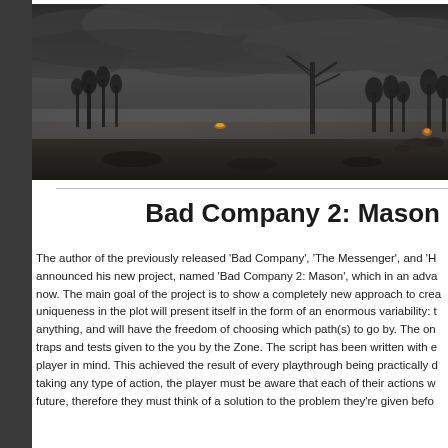[Figure (illustration): Dark moody panoramic landscape scene showing a post-apocalyptic or eerie wilderness with dark storm clouds, dead trees, misty forest silhouettes, and dim yellowish light on the ground]
Bad Company 2: Mason
The author of the previously released 'Bad Company', 'The Messenger', and 'H announced his new project, named 'Bad Company 2: Mason', which in an adva now. The main goal of the project is to show a completely new approach to crea uniqueness in the plot will present itself in the form of an enormous variability: t anything, and will have the freedom of choosing which path(s) to go by. The on traps and tests given to the you by the Zone. The script has been written with e player in mind. This achieved the result of every playthrough being practically d taking any type of action, the player must be aware that each of their actions w future, therefore they must think of a solution to the problem they're given befo